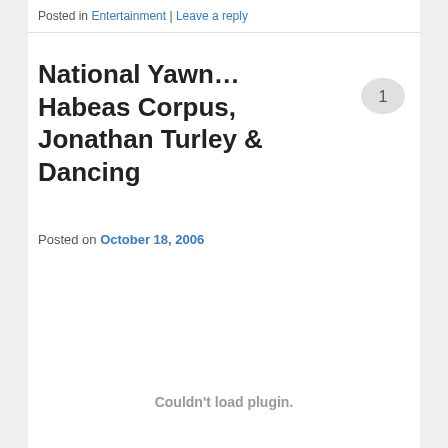Posted in Entertainment | Leave a reply
National Yawn… Habeas Corpus, Jonathan Turley & Dancing
Posted on October 18, 2006
[Figure (other): Comment bubble with number 1]
Couldn't load plugin.